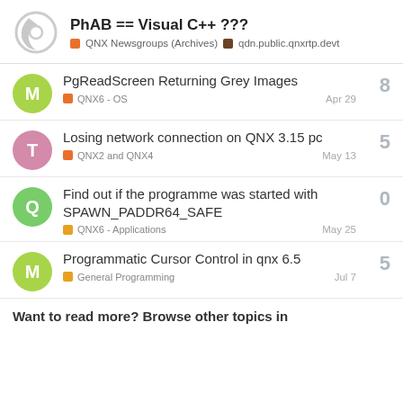PhAB == Visual C++ ???
QNX Newsgroups (Archives) | qdn.public.qnxrtp.devt
PgReadScreen Returning Grey Images | QNX6 - OS | Apr 29 | 8 replies
Losing network connection on QNX 3.15 pc | QNX2 and QNX4 | May 13 | 5 replies
Find out if the programme was started with SPAWN_PADDR64_SAFE | QNX6 - Applications | May 25 | 0 replies
Programmatic Cursor Control in qnx 6.5 | General Programming | Jul 7 | 5 replies
Want to read more? Browse other topics in